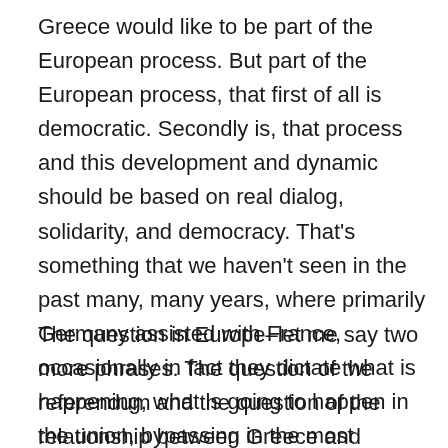Greece would like to be part of the European process. But part of the European process, that first of all is democratic. Secondly is, that process and this development and dynamic should be based on real dialog, solidarity, and democracy. That’s something that we haven’t seen in the past many, many years, where primarily Germany assisted with France, occasionally in fact they dictate what is happening, what is going to happen in the union, bypassing in the most arrogant way you can imagine the will of the nations. So the governments that they might have minor differences with, with that kind of leadership.
The question in Europe–let me say two more phrases. The question of the referendum and the question of the relationship between Greece and Europe is not just the economic problem. The rescue, if you like, quote-unquote, plan for Greece, it has to do with the issue of